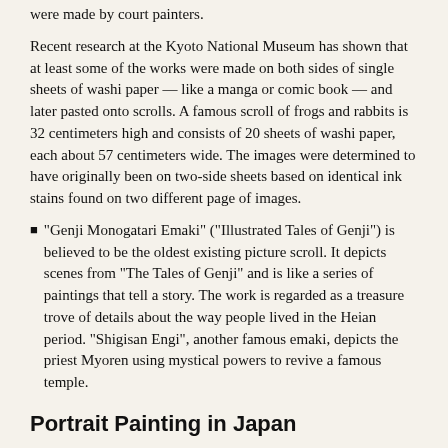were made by court painters.
Recent research at the Kyoto National Museum has shown that at least some of the works were made on both sides of single sheets of washi paper — like a manga or comic book — and later pasted onto scrolls. A famous scroll of frogs and rabbits is 32 centimeters high and consists of 20 sheets of washi paper, each about 57 centimeters wide. The images were determined to have originally been on two-side sheets based on identical ink stains found on two different page of images.
"Genji Monogatari Emaki" ("Illustrated Tales of Genji") is believed to be the oldest existing picture scroll. It depicts scenes from "The Tales of Genji" and is like a series of paintings that tell a story. The work is regarded as a treasure trove of details about the way people lived in the Heian period. "Shigisan Engi", another famous emaki, depicts the priest Myoren using mystical powers to revive a famous temple.
Portrait Painting in Japan
Portrait painting became popular during the Kamakura Period (1192-1333) as part of a movement that emphasized individuality and precise detail. 13th century portraits of the